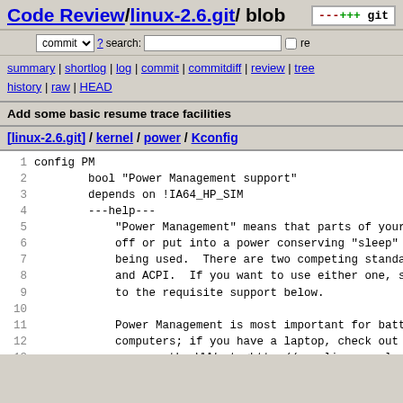Code Review / linux-2.6.git / blob
commit ? search: re
summary | shortlog | log | commit | commitdiff | review | tree history | raw | HEAD
Add some basic resume trace facilities
[linux-2.6.git] / kernel / power / Kconfig
1 config PM
2         bool "Power Management support"
3         depends on !IA64_HP_SIM
4         ---help---
5             "Power Management" means that parts of your c
6             off or put into a power conserving "sleep" mo
7             being used.  There are two competing standarc
8             and ACPI.  If you want to use either one, say
9             to the requisite support below.
10
11             Power Management is most important for batter
12             computers; if you have a laptop, check out th
13             page on the WWW at <http://www.linux-on-lapto
14             Tuxmobil - Linux on Mobile Computers at <htt
15             and the Battery Powered Linux mini-HOWTO, ava
16             <http://www.tldp.org/docs.html#howto>.
17
18             Note that, even if you say N here, Linux on t
19             will issue the hlt instruction if nothing is